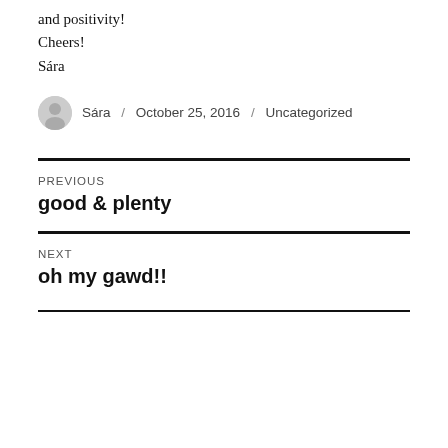and positivity!
Cheers!
Sára
Sára / October 25, 2016 / Uncategorized
Previous
good & plenty
Next
oh my gawd!!